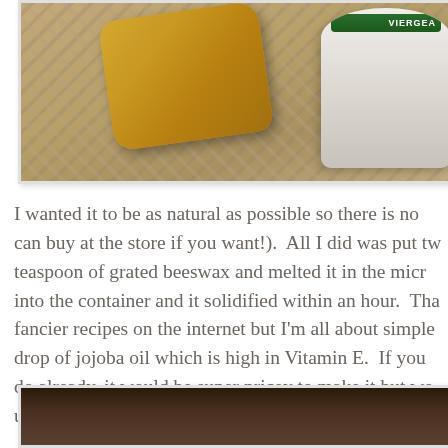[Figure (photo): Beeswax block and coconut oil jar on a wicker basket surface]
I wanted it to be as natural as possible so there is no can buy at the store if you want!).  All I did was put tw teaspoon of grated beeswax and melted it in the micr into the container and it solidified within an hour.  Tha fancier recipes on the internet but I'm all about simple drop of jojoba oil which is high in Vitamin E.  If you do already, it would be super pricey to make it but we us is just to use coconut oil and some vanilla.
[Figure (photo): Bottom photo, dark background, partially visible]